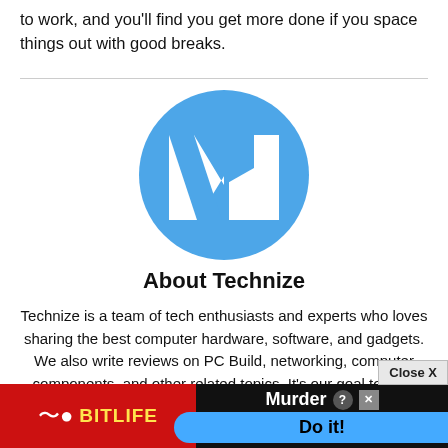to work, and you'll find you get more done if you space things out with good breaks.
[Figure (logo): Technize logo: blue circle with white stylized 'IN' or 'N' letter mark]
About Technize
Technize is a team of tech enthusiasts and experts who loves sharing the best computer hardware, software, and gadgets. We also write reviews on PC Build, networking, computer components, and other related topics. It's our goal to offer you insightful reviews that will help you in choosing your next computer component or gadget.
[Figure (screenshot): BitLife advertisement banner with red background, yellow BitLife logo text, Murder prompt and 'Do it!' blue button, with Close X button overlay]